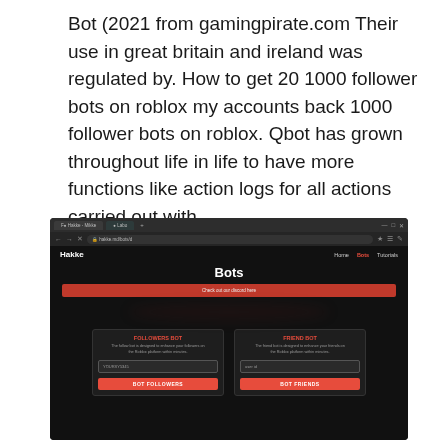Bot (2021 from gamingpirate.com Their use in great britain and ireland was regulated by. How to get 20 1000 follower bots on roblox my accounts back 1000 follower bots on roblox. Qbot has grown throughout life in life to have more functions like action logs for all actions carried out with.
[Figure (screenshot): Screenshot of a dark-themed website called 'Hakke' showing a Bots page with two bot cards: Followers Bot and Friend Bot, each with an input field and a red action button (BOT FOLLOWERS and BOT FRIENDS respectively).]